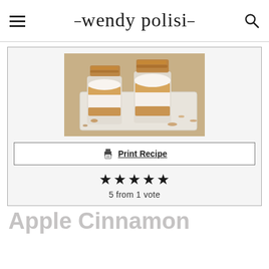wendy polisi
[Figure (photo): Two glass cups layered with granola, apple compote, and whipped cream topping, served on a white plate with scattered granola pieces on a wooden surface.]
Print Recipe
★★★★★
5 from 1 vote
Apple Cinnamon